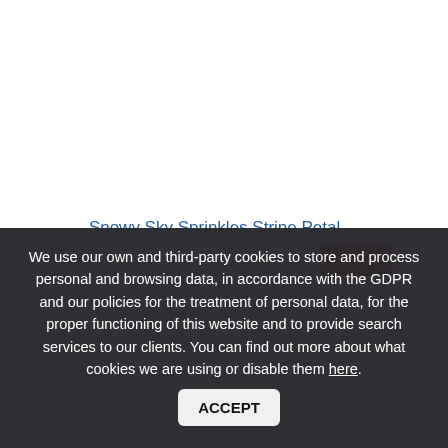Snowy Sky Sprinkles Stripe Petal ...
$4.99
We use our own and third-party cookies to store and process personal and browsing data, in accordance with the GDPR and our policies for the treatment of personal data, for the proper functioning of this website and to provide search services to our clients. You can find out more about what cookies we are using or disable them here. ACCEPT